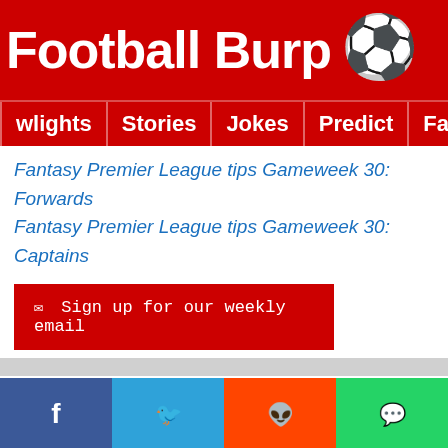Football Burp ⚽
wlights | Stories | Jokes | Predict | Fantasy 🔥 🔍
Fantasy Premier League tips Gameweek 30: Forwards
Fantasy Premier League tips Gameweek 30: Captains
✉ Sign up for our weekly email
Comments  Community  🔒 Privacy Policy  1 Login ▼
♡ Favorite   Sort by Oldest ▼
Start the discussion...
LOG IN WITH